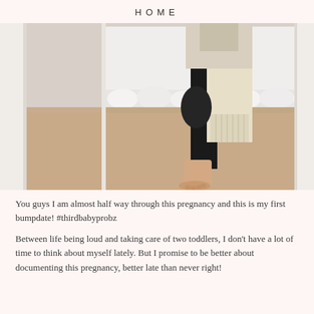HOME
[Figure (photo): A pregnant woman standing barefoot on beige carpet in a bedroom, viewed from the side. She is wearing black leggings and a cream/off-white knit cardigan. A white ruffled bed skirt and white bedding are visible in the background. The photo is taken in a mirror, and white door frames are visible on the sides.]
You guys I am almost half way through this pregnancy and this is my first bumpdate!  #thirdbabyprobz
Between life being loud and taking care of two toddlers, I don't have a lot of time to think about myself lately.  But I promise to be better about documenting this pregnancy, better late than never right!